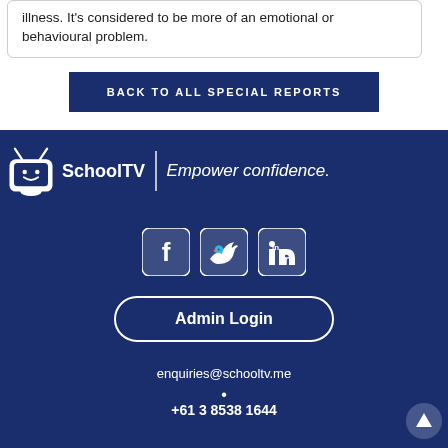illness. It's considered to be more of an emotional or behavioural problem.
BACK TO ALL SPECIAL REPORTS
[Figure (logo): SchoolTV logo with TV mascot icon and tagline 'Empower confidence.']
[Figure (infographic): Social media icons: Facebook, Twitter, LinkedIn]
Admin Login
enquiries@schooltv.me
·
+61 3 8538 1644